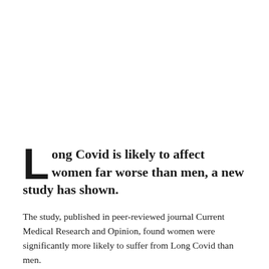Long Covid is likely to affect women far worse than men, a new study has shown.
The study, published in peer-reviewed journal Current Medical Research and Opinion, found women were significantly more likely to suffer from Long Covid than men.
Conducted by researchers from the Johnson & Johnson Office of the Chief Medical Officer health of women team in the US,